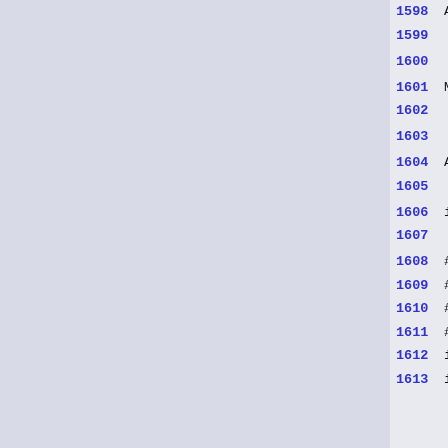1598 AUTOHEADER=${AUTOHEADER-"${am...
1599
1600
1601 MAKEINFO=${MAKEINFO-"${am_mis...
1602
1603
1604 AMTAR=${AMTAR-"${am_missing_r...
1605
1606 install_sh=${install_sh-"$am_...
1607
1608 # Installed binaries are usua...
1609 # run `make install-strip'.
1610 # tool to use in cross-compil...
1611 # will honor the `STRIP' envi...
1612 if test "$cross_compiling" !=...
1613   if test -n "$ac_tool_prefix...